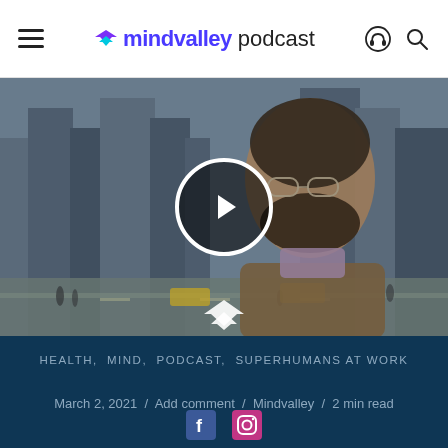mindvalley podcast
[Figure (photo): A smiling bearded man with glasses standing in a city street setting, with a large circular play button overlay in the center. A Mindvalley logo watermark appears at the bottom of the image.]
HEALTH, MIND, PODCAST, SUPERHUMANS AT WORK
March 2, 2021 / Add comment / Mindvalley / 2 min read